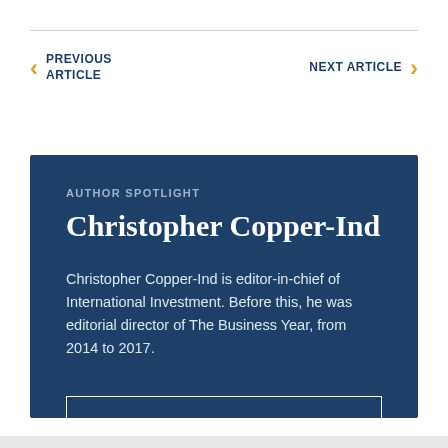PREVIOUS ARTICLE    NEXT ARTICLE
AUTHOR SPOTLIGHT
Christopher Copper-Ind
Christopher Copper-Ind is editor-in-chief of International Investment. Before this, he was editorial director of The Business Year, from 2014 to 2017.
View profile